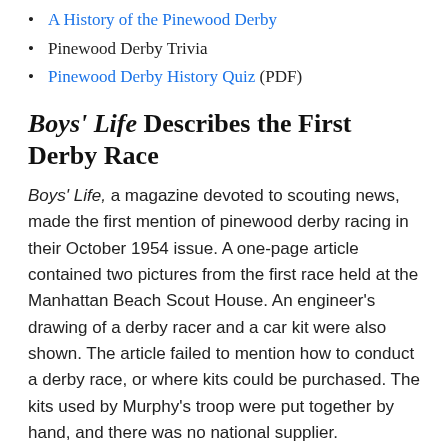A History of the Pinewood Derby
Pinewood Derby Trivia
Pinewood Derby History Quiz (PDF)
Boys' Life Describes the First Derby Race
Boys' Life, a magazine devoted to scouting news, made the first mention of pinewood derby racing in their October 1954 issue. A one-page article contained two pictures from the first race held at the Manhattan Beach Scout House. An engineer's drawing of a derby racer and a car kit were also shown. The article failed to mention how to conduct a derby race, or where kits could be purchased. The kits used by Murphy's troop were put together by hand, and there was no national supplier.
In 1955, model airplane builder Art Hasselbach was approached by the Boy Scouts to create a kit from Don